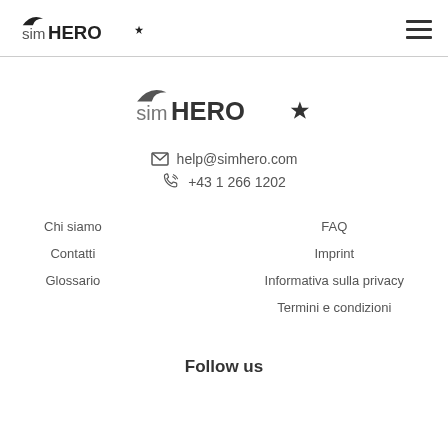simHERO logo and hamburger menu
[Figure (logo): simHERO logo centered]
help@simhero.com
+43 1 266 1202
Chi siamo
Contatti
Glossario
FAQ
Imprint
Informativa sulla privacy
Termini e condizioni
Follow us